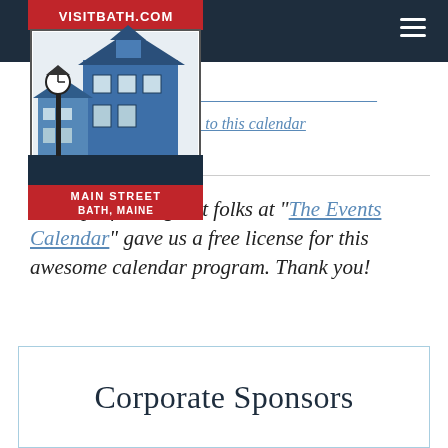[Figure (logo): VisitBath.com Main Street Bath, Maine logo with clock tower and building illustration]
s to this calendar
d non profit the great folks at “The Events Calendar” gave us a free license for this awesome calendar program. Thank you!
Corporate Sponsors